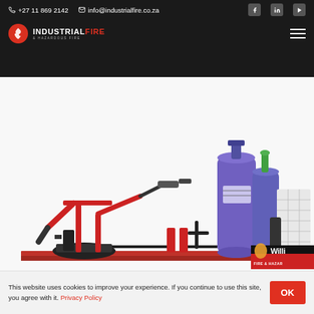+27 11 869 2142   info@industrialfire.co.za
[Figure (logo): Industrial Fire & Hazardous logo — red circle with flame icon, text INDUSTRIAL in white and FIRE in red]
[Figure (photo): Industrial fire suppression and hazmat equipment on a red platform: red robotic fire monitor arms, purple compressed gas cylinders, black pipe fittings, container with 'Williams Fire & Hazard' branding]
This website uses cookies to improve your experience. If you continue to use this site, you agree with it. Privacy Policy